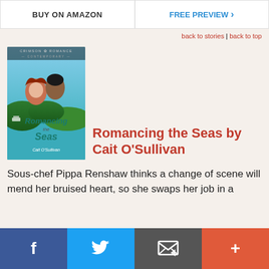BUY ON AMAZON | FREE PREVIEW
back to stories | back to top
[Figure (illustration): Book cover for Romancing the Seas by Cait O'Sullivan – Crimson Romance Contemporary imprint. Shows a couple about to kiss against a tropical island backdrop with turquoise water.]
Romancing the Seas by Cait O'Sullivan
Sous-chef Pippa Renshaw thinks a change of scene will mend her bruised heart, so she swaps her job in a